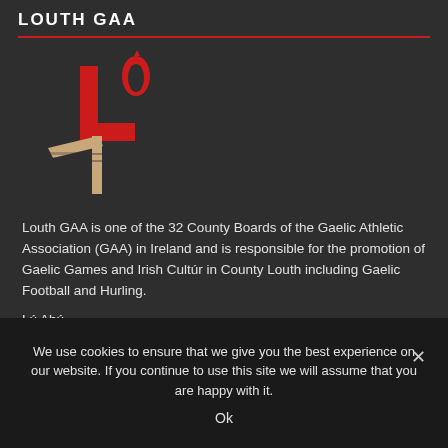LOUTH GAA
[Figure (logo): Louth GAA logo: a stylized red 'Lú' letter above a hand/arm motif in red and gold/tan, representing the GAA county board.]
Louth GAA is one of the 32 County Boards of the Gaelic Athletic Association (GAA) in Ireland and is responsible for the promotion of Gaelic Games and Irish Cultúr in County Louth including Gaelic Football and Hurling.
Lú Abú
We use cookies to ensure that we give you the best experience on our website. If you continue to use this site we will assume that you are happy with it.
Ok